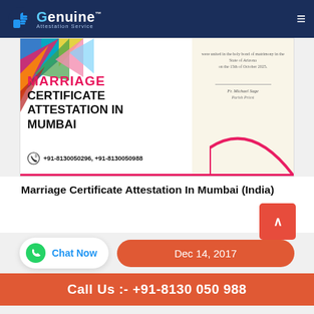Genuine Attestation Services
[Figure (illustration): Marriage Certificate Attestation in Mumbai banner image with colorful triangles, certificate preview, pink arc, phone number +91-8130050296, +91-8130050988]
Marriage Certificate Attestation In Mumbai (India)
Dec 14, 2017
Call Us :- +91-8130 050 988